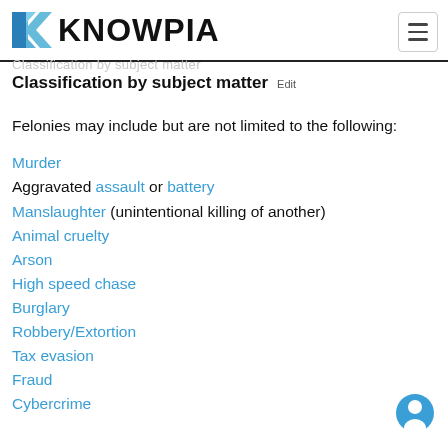KNOWPIA
Classification by subject matter [Edit]
Felonies may include but are not limited to the following:
Murder
Aggravated assault or battery
Manslaughter (unintentional killing of another)
Animal cruelty
Arson
High speed chase
Burglary
Robbery/Extortion
Tax evasion
Fraud
Cybercrime